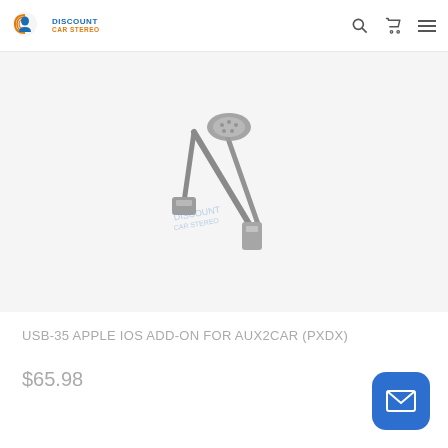Discount Car Stereo
[Figure (photo): A USB cable with connector ends on a light gray background, product photo for USB-35 Apple iOS Add-On for AUX2CAR (PXDX). A watermark reads DISCOUNT CAR STEREO.]
USB-35 APPLE IOS ADD-ON FOR AUX2CAR (PXDX)
$65.98